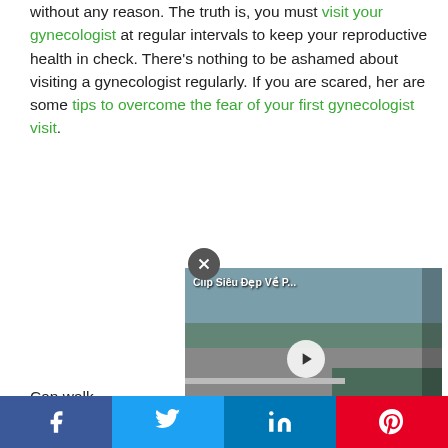without any reason. The truth is, you must visit your gynecologist at regular intervals to keep your reproductive health in check. There's nothing to be ashamed about visiting a gynecologist regularly. If you are scared, her are some tips to overcome the fear of your first gynecologist visit.
[Figure (screenshot): Embedded video player showing a street/bridge scene with Vietnamese title 'Clip Siêu Đẹp Về P...' and a play button. A close (X) button appears above the video.]
Can walk...
Facebook | Twitter | LinkedIn | Pinterest social share bar